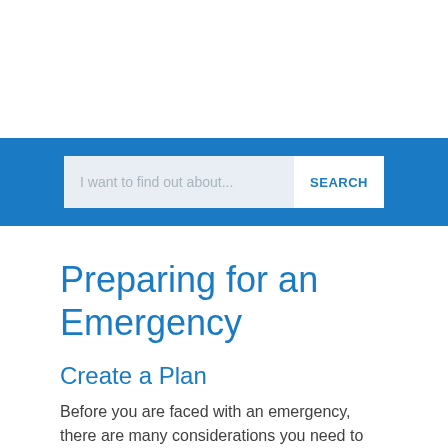[Figure (screenshot): Blue search bar with input field reading 'I want to find out about...' and a white SEARCH button]
Preparing for an Emergency
Create a Plan
Before you are faced with an emergency, there are many considerations you need to make